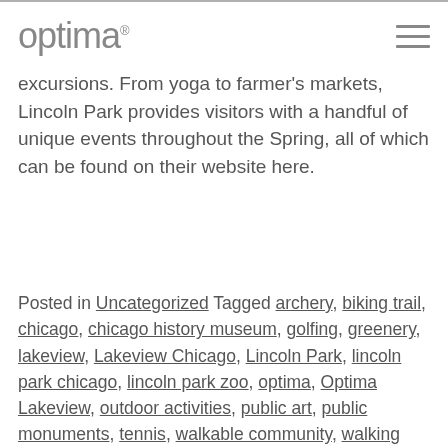optima
excursions. From yoga to farmer's markets, Lincoln Park provides visitors with a handful of unique events throughout the Spring, all of which can be found on their website here.
Posted in Uncategorized Tagged archery, biking trail, chicago, chicago history museum, golfing, greenery, lakeview, Lakeview Chicago, Lincoln Park, lincoln park chicago, lincoln park zoo, optima, Optima Lakeview, outdoor activities, public art, public monuments, tennis, walkable community, walking trail, zoo